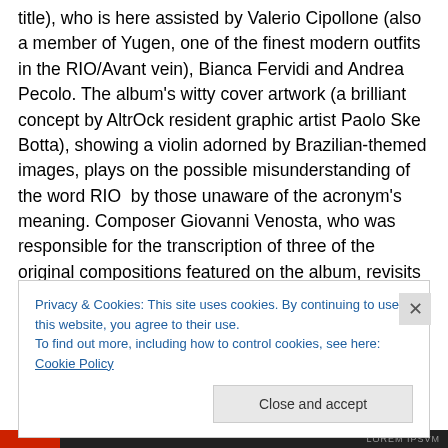title), who is here assisted by Valerio Cipollone (also a member of Yugen, one of the finest modern outfits in the RIO/Avant vein), Bianca Fervidi and Andrea Pecolo. The album's witty cover artwork (a brilliant concept by AltrOck resident graphic artist Paolo Ske Botta), showing a violin adorned by Brazilian-themed images, plays on the possible misunderstanding of the word RIO  by those unaware of the acronym's meaning. Composer Giovanni Venosta, who was responsible for the transcription of three of the original compositions featured on the album, revisits his first experiences with the Rock in Opposition
Privacy & Cookies: This site uses cookies. By continuing to use this website, you agree to their use.
To find out more, including how to control cookies, see here: Cookie Policy